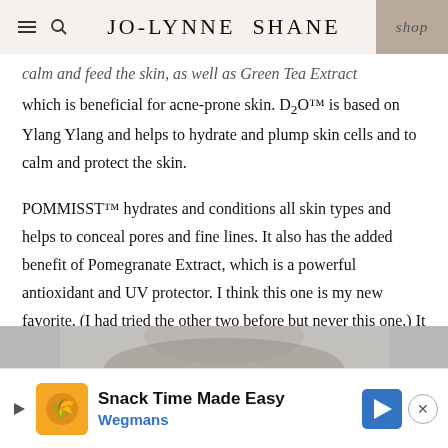JO-LYNNE SHANE
calm and feed the skin, as well as Green Tea Extract which is beneficial for acne-prone skin. D₂O™ is based on Ylang Ylang and helps to hydrate and plump skin cells and to calm and protect the skin.
POMMISST™ hydrates and conditions all skin types and helps to conceal pores and fine lines. It also has the added benefit of Pomegranate Extract, which is a powerful antioxidant and UV protector. I think this one is my new favorite. (I had tried the other two before but never this one.) It has a pleasing aroma, and I'll take all the help I can get concealing pores and fine lines.
[Figure (photo): Partial photo of a woman's face, cropped at the bottom of the page]
[Figure (other): Advertisement banner: Snack Time Made Easy - Wegmans]